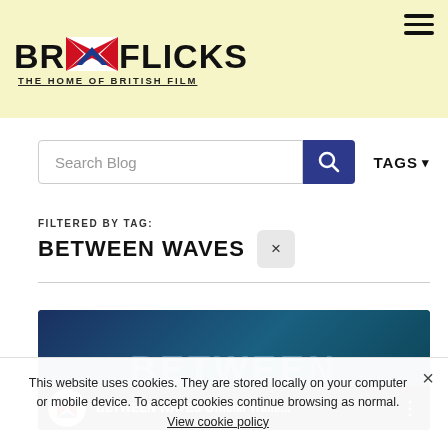[Figure (logo): BritFlicks logo with Union Jack heart and text THE HOME OF BRITISH FILM]
Search Blog
TAGS ▾
FILTERED BY TAG:
BETWEEN WAVES ×
[Figure (screenshot): BETWEEN WAVES Official Traile... video thumbnail with BritFlicks branding]
This website uses cookies. They are stored locally on your computer or mobile device. To accept cookies continue browsing as normal. View cookie policy